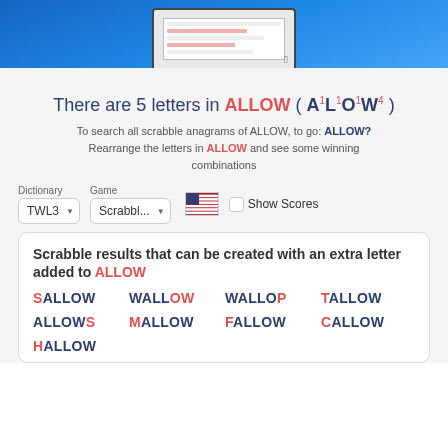[Figure (screenshot): Screenshot area showing a monitor on a blue gradient background]
There are 5 letters in ALLOW ( A¹L¹O¹W⁴ )
To search all scrabble anagrams of ALLOW, to go: ALLOW?
Rearrange the letters in ALLOW and see some winning combinations
Dictionary: TWL3  Game: Scrabbl...  Show Scores
Scrabble results that can be created with an extra letter added to ALLOW
SALLOW
WALLOW
WALLOP
TALLOW
ALLOWS
MALLOW
FALLOW
CALLOW
HALLOW